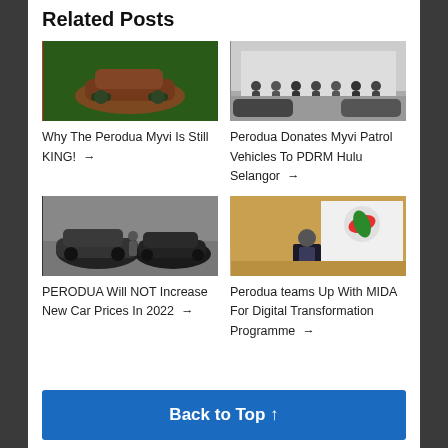Related Posts
[Figure (photo): Red Perodua Myvi car parked among trees]
Why The Perodua Myvi Is Still KING! →
[Figure (photo): Group of people standing in front of a building with Perodua Myvi patrol vehicles]
Perodua Donates Myvi Patrol Vehicles To PDRM Hulu Selangor →
[Figure (photo): Black Perodua cars parked in urban area]
PERODUA Will NOT Increase New Car Prices In 2022 →
[Figure (photo): Person speaking at MIDA podium with Perodua banner in background]
Perodua teams Up With MIDA For Digital Transformation Programme →
Back to Top ↑